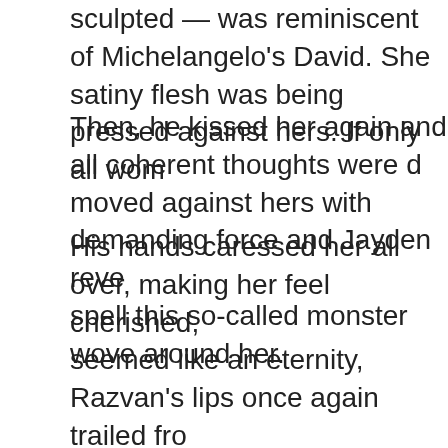sculpted — was reminiscent of Michelangelo's David. She satiny flesh was being pressed against hers. If only all wom
Then, he kissed her again and all coherent thoughts were d moved against hers with demanding force and Jayden reve spell this so-called monster wove around her.
His hands caressed her all over, making her feel cherished, seemed like an eternity, Razvan's lips once again trailed fro her throat. This time, she felt the sharp prick of his fangs pie sensation was painful but there was a poignant undertone o to expand as her blood flowed out of her veins and into his wonderful. Desperately, she clung to him, for already dizzin and delicious blackness was hovering near, waiting to close her.
The vampire made a low dangerous sound, pulling her from His fangs withdrew from her throat and his body lifted from rustle of his pants as he removed them.